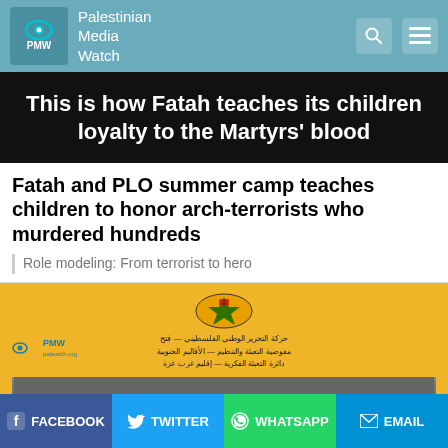Palestinian Media Watch
[Figure (screenshot): Black banner image with white bold text reading: This is how Fatah teaches its children loyalty to the Martyrs' blood]
Fatah and PLO summer camp teaches children to honor arch-terrorists who murdered hundreds
Role modeling: From terrorist to hero
[Figure (screenshot): Yellow Fatah flyer with Arabic text, a Fatah logo at top, PMW watermark at left, and a black-and-white photo of armed fighters at the bottom]
FACEBOOK  TWITTER  WHATSAPP  EMAIL